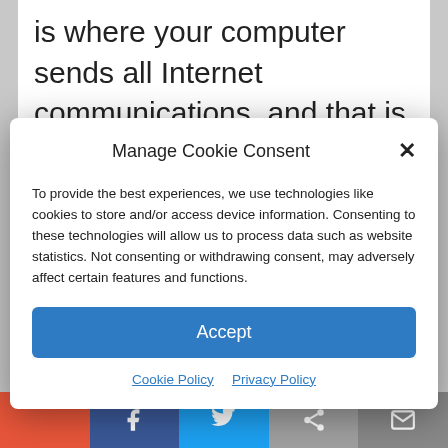is where your computer sends all Internet communications, and that is where the magic happens.
Manage Cookie Consent
To provide the best experiences, we use technologies like cookies to store and/or access device information. Consenting to these technologies will allow us to process data such as website statistics. Not consenting or withdrawing consent, may adversely affect certain features and functions.
Accept
Cookie Policy  Privacy Policy
the gateway, “go to address X.”  Of